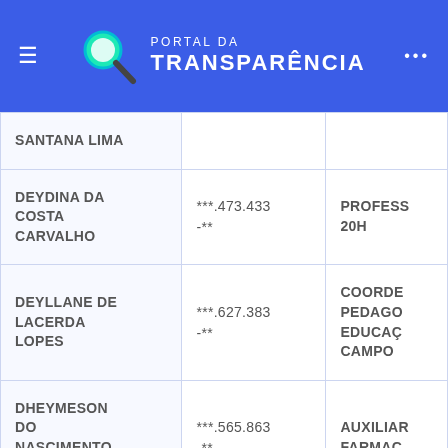PORTAL DA TRANSPARÊNCIA
| Nome | CPF | Cargo |
| --- | --- | --- |
| SANTANA LIMA |  |  |
| DEYDINA DA COSTA CARVALHO | ***.473.433-** | PROFESS 20H |
| DEYLLANE DE LACERDA LOPES | ***.627.383-** | COORDE PEDAGO EDUCAÇ CAMPO |
| DHEYMESON DO NASCIMENTO LOPES | ***.565.863-** | AUXILIAR FARMAC |